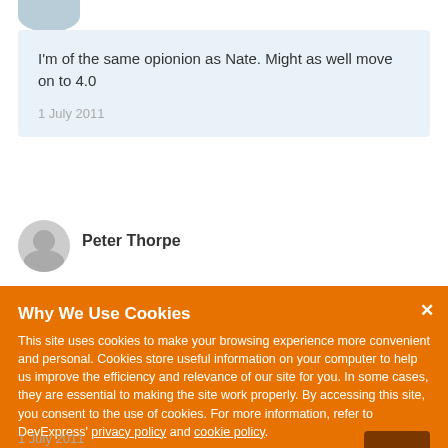[Figure (illustration): Partial view of a user avatar (circular profile image) cropped at top]
I'm of the same opionion as Nate.  Might as well move on to 4.0
1 July 2011
[Figure (illustration): Greyed out generic user avatar silhouette]
Peter Thorpe
Why We Use Cookies
This site uses cookies to make your browsing experience more convenient and personal. Cookies store useful information on your computer to help us improve the efficiency and relevance of our site for you. In some cases, they are essential to making the site work properly. By accessing this site, you consent to the use of cookies. For more information, refer to DevExpress' privacy policy and cookie policy.
I UNDERSTAND
1 July 2011